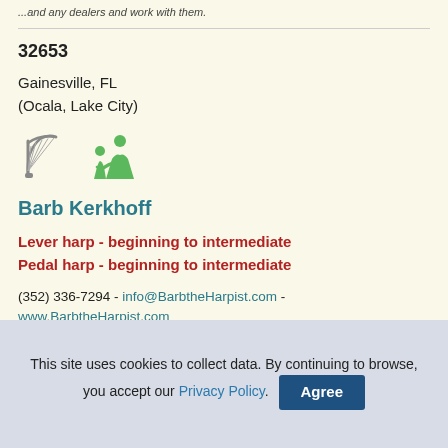...and any dealers and work with them.
32653
Gainesville, FL
(Ocala, Lake City)
[Figure (illustration): Harp icon and family/children icon]
Barb Kerkhoff
Lever harp - beginning to intermediate
Pedal harp - beginning to intermediate
(352) 336-7294 - info@BarbtheHarpist.com - www.BarbtheHarpist.com
Barb teaches private lessons for children and adults at her studio.
This site uses cookies to collect data. By continuing to browse, you accept our Privacy Policy.